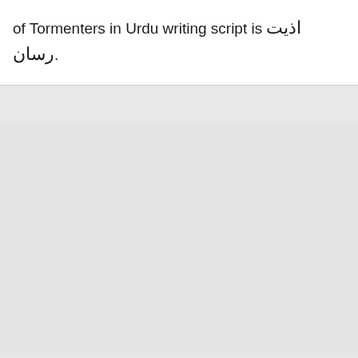of Tormenters in Urdu writing script is اذیت رسان.